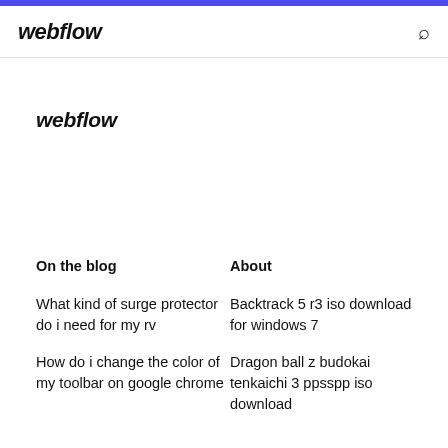webflow
webflow
On the blog
About
What kind of surge protector do i need for my rv
How do i change the color of my toolbar on google chrome
Backtrack 5 r3 iso download for windows 7
Dragon ball z budokai tenkaichi 3 ppsspp iso download